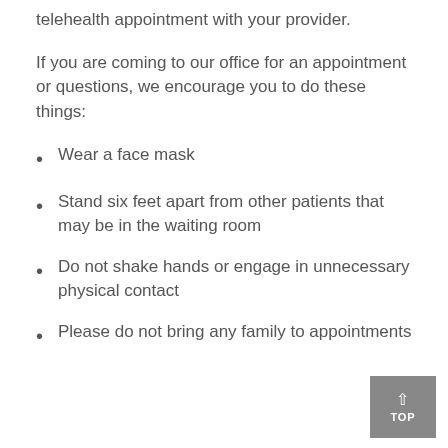telehealth appointment with your provider.
If you are coming to our office for an appointment or questions, we encourage you to do these things:
Wear a face mask
Stand six feet apart from other patients that may be in the waiting room
Do not shake hands or engage in unnecessary physical contact
Please do not bring any family to appointments